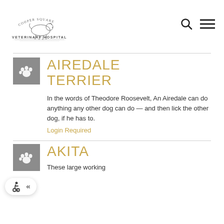Cooper Square Veterinary Hospital
AIREDALE TERRIER
In the words of Theodore Roosevelt, An Airedale can do anything any other dog can do — and then lick the other dog, if he has to.
Login Required
AKITA
These large working